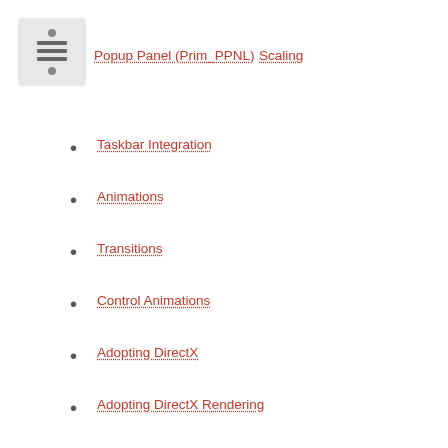[Figure (other): Navigation menu icon with hamburger lines and dots on grey background]
Popup Panel (Prim_PPNL)
Scaling
Taskbar Integration
Animations
Transitions
Control Animations
Adopting DirectX
Adopting DirectX Rendering
Enabling for DirectX
Strategies
Test, Test, Test
DirectX Changes
Default Appearance
Transparency and Opacity
Routed Events
Mouse Events